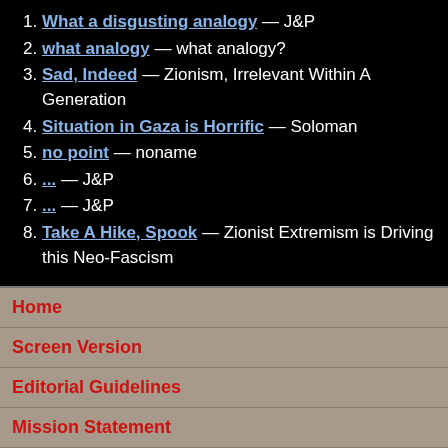1. What a disgusting analogy — J&P
2. what analogy — what analogy?
3. Sad, Indeed — Zionism, Irrelevant Within A Generation
4. Situation in Gaza is Horrific — Soloman
5. no point — noname
6. ... — J&P
7. ... — J&P
8. Take A Hike, Spook — Zionist Extremism is Driving this Neo-Fascism
Home
Screen Version
Editorial Guidelines
Mission Statement
About
Contact
Help
Security
Support Us